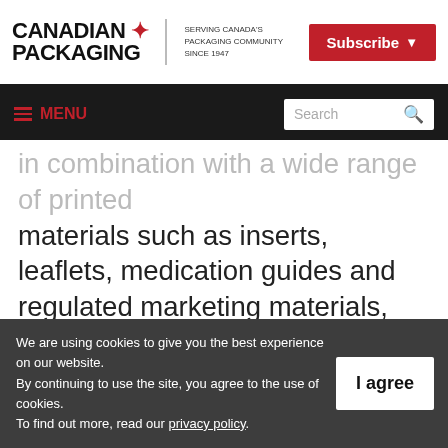Canadian Packaging — Serving Canada's Packaging Community Since 1947 | Subscribe
≡ MENU | Search
in combination with a wide range of printed materials such as inserts, leaflets, medication guides and regulated marketing materials, Rondo-Pak's packaging innovations address precise requirements for compliance, child resistance, anti-counterfeiting, e-pedigree and more. For more information, visit
We are using cookies to give you the best experience on our website. By continuing to use the site, you agree to the use of cookies. To find out more, read our privacy policy.